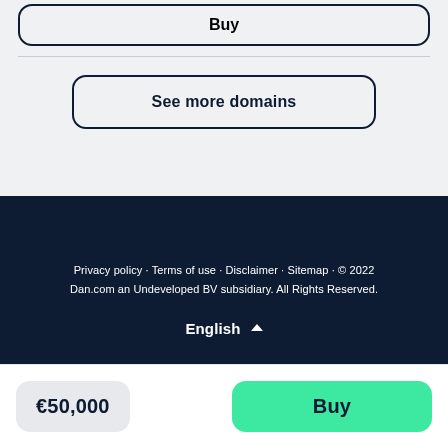Buy
See more domains
Privacy policy · Terms of use · Disclaimer · Sitemap · © 2022 Dan.com an Undeveloped BV subsidiary. All Rights Reserved.
English ▲
€50,000
Buy